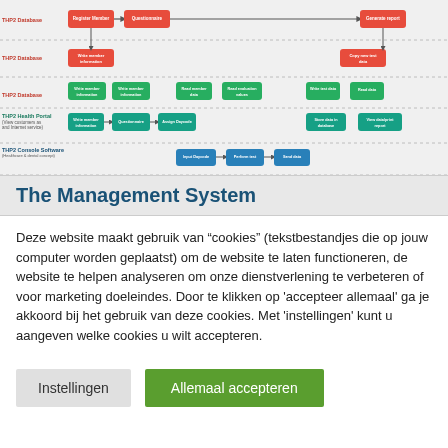[Figure (flowchart): System flowchart showing THP2 Database, THP2 Health Portal, and THP2 Console Software layers with process steps: Register Member, Questionnaire, Generate report, Write member information, Copy new test data, Write member information (x2), Read member data, Read evaluation values, Write test data, Read data, Assign Daycode, Store data in database, View data/print report, Input Daycode, Perform test, Send data.]
The Management System
Deze website maakt gebruik van “cookies” (tekstbestandjes die op jouw computer worden geplaatst) om de website te laten functioneren, de website te helpen analyseren om onze dienstverlening te verbeteren of voor marketing doeleindes. Door te klikken op 'accepteer allemaal' ga je akkoord bij het gebruik van deze cookies. Met 'instellingen' kunt u aangeven welke cookies u wilt accepteren.